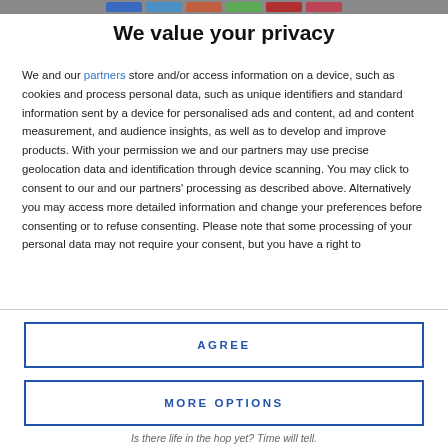We value your privacy
We and our partners store and/or access information on a device, such as cookies and process personal data, such as unique identifiers and standard information sent by a device for personalised ads and content, ad and content measurement, and audience insights, as well as to develop and improve products. With your permission we and our partners may use precise geolocation data and identification through device scanning. You may click to consent to our and our partners' processing as described above. Alternatively you may access more detailed information and change your preferences before consenting or to refuse consenting. Please note that some processing of your personal data may not require your consent, but you have a right to
AGREE
MORE OPTIONS
Is there life in the hop yet? Time will tell.